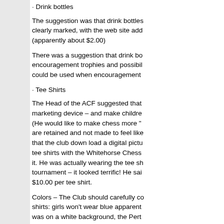· Drink bottles
The suggestion was that drink bottles clearly marked, with the web site address (apparently about $2.00)
There was a suggestion that drink bo... encouragement trophies and possibly could be used when encouragement...
· Tee Shirts
The Head of the ACF suggested that marketing device – and make childre (He would like to make chess more " are retained and not made to feel like that the club down load a digital pictu tee shirts with the Whitehorse Chess it. He was actually wearing the tee sh tournament – it looked terrific! He sai $10.00 per tee shirt.
Colors – The Club should carefully co shirts: girls won't wear blue apparently was on a white background, the Pert black – and cost $20.00. (I'll try and g night.)
My only concern would be copyright. certain that it was not going to get su